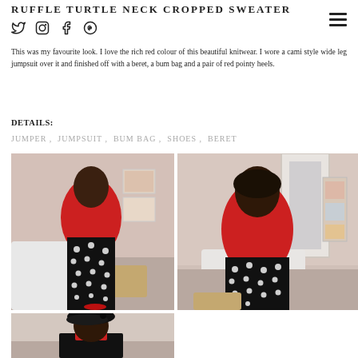RUFFLE TURTLE NECK CROPPED SWEATER
This was my favourite look. I love the rich red colour of this beautiful knitwear. I wore a cami style wide leg jumpsuit over it and finished off with a beret, a bum bag and a pair of red pointy heels.
DETAILS:
JUMPER , JUMPSUIT , BUM BAG , SHOES , BERET
[Figure (photo): Two side-by-side photos of a woman wearing a red turtleneck sweater with a black and white polka dot wide-leg jumpsuit, sitting on a white couch in a styled room]
[Figure (photo): Bottom photo showing a woman wearing a black beret and what appears to be the same red knitwear outfit]